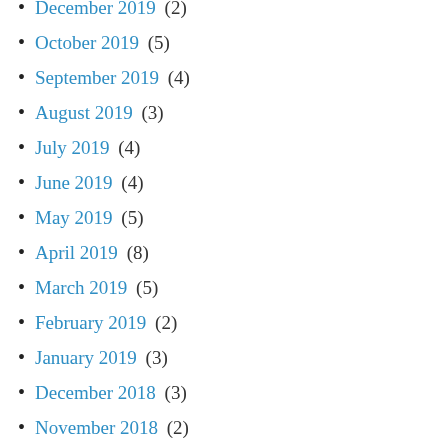December 2019 (2)
October 2019 (5)
September 2019 (4)
August 2019 (3)
July 2019 (4)
June 2019 (4)
May 2019 (5)
April 2019 (8)
March 2019 (5)
February 2019 (2)
January 2019 (3)
December 2018 (3)
November 2018 (2)
October 2018 (3)
September 2018 (4)
August 2018 (6)
July 2018 (4)